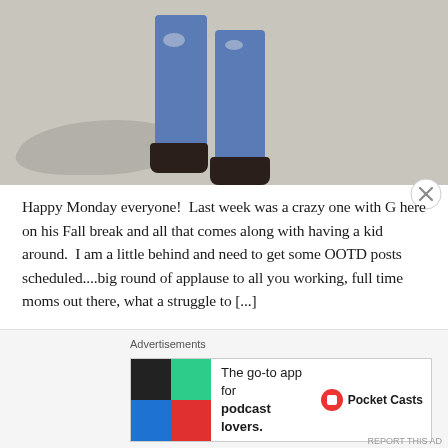[Figure (photo): Cropped photo showing the lower half of a person wearing distressed blue skinny jeans and black two-strap sandals (Birkenstocks), standing on a light concrete/pavement surface with a shadow visible.]
Happy Monday everyone!  Last week was a crazy one with G here on his Fall break and all that comes along with having a kid around.  I am a little behind and need to get some OOTD posts scheduled....big round of applause to all you working, full time moms out there, what a struggle to [...]
Advertisements
[Figure (screenshot): Advertisement banner for Pocket Casts app. Shows a colorful four-quadrant icon on the left, text 'The go-to app for podcast lovers.' in the center, and the Pocket Casts logo and brand name on the right.]